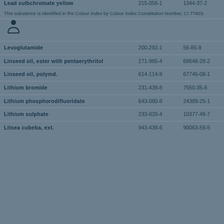| Substance | EC Number | CAS Number |
| --- | --- | --- |
| Lead sulbchromate yellow | 215-056-1 | 1344-37-2 |
| This substance is identified in the Colour Index by Colour Index Constitution Number, CI 77603. |  |  |
| [icon] |  |  |
| Levoglutamide | 200-292-1 | 56-85-9 |
| Linseed oil, ester with pentaerythritol | 271-985-4 | 68648-28-2 |
| Linseed oil, polymd. | 614-114-9 | 67746-08-1 |
| Lithium bromide | 231-439-8 | 7550-35-8 |
| Lithium phosphorodifluoridate | 643-080-8 | 24389-25-1 |
| Lithium sulphate | 233-820-4 | 10377-48-7 |
| Litsea cubeba, ext. | 943-438-6 | 90063-59-5 |